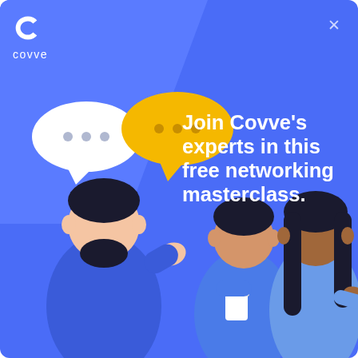[Figure (logo): Covve logo: stylized C icon and text 'covve' in white on blue background]
Join Covve’s experts in this free networking masterclass.
[Figure (illustration): Illustration of three people networking: a bearded man gesturing, a man holding a cup, and a woman with dark hair, with white and yellow speech bubbles above]